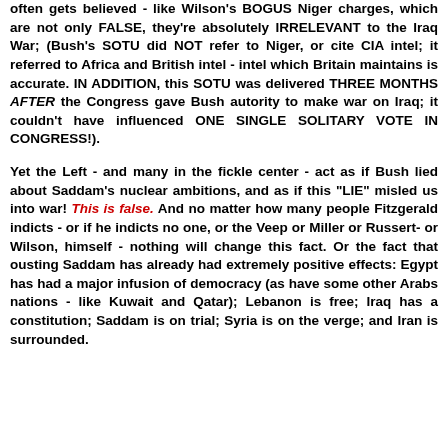often gets believed - like Wilson's BOGUS Niger charges, which are not only FALSE, they're absolutely IRRELEVANT to the Iraq War; (Bush's SOTU did NOT refer to Niger, or cite CIA intel; it referred to Africa and British intel - intel which Britain maintains is accurate. IN ADDITION, this SOTU was delivered THREE MONTHS AFTER the Congress gave Bush autority to make war on Iraq; it couldn't have influenced ONE SINGLE SOLITARY VOTE IN CONGRESS!).
Yet the Left - and many in the fickle center - act as if Bush lied about Saddam's nuclear ambitions, and as if this "LIE" misled us into war! This is false. And no matter how many people Fitzgerald indicts - or if he indicts no one, or the Veep or Miller or Russert- or Wilson, himself - nothing will change this fact. Or the fact that ousting Saddam has already had extremely positive effects: Egypt has had a major infusion of democracy (as have some other Arabs nations - like Kuwait and Qatar); Lebanon is free; Iraq has a constitution; Saddam is on trial; Syria is on the verge; and Iran is surrounded.